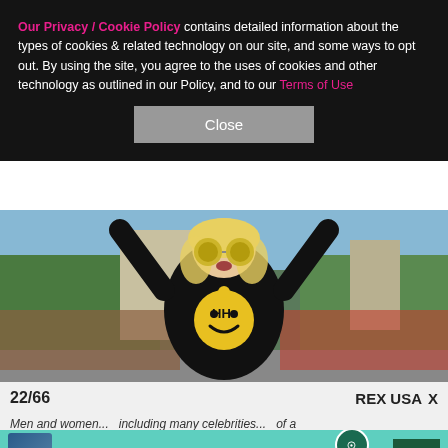Our Privacy / Cookie Policy contains detailed information about the types of cookies & related technology on our site, and some ways to opt out. By using the site, you agree to the uses of cookies and other technology as outlined in our Policy, and to our Terms of Use
[Figure (other): A 'Close' button for the cookie/privacy overlay]
[Figure (photo): Woman with arms raised wearing black hoodie with yellow smiley face 'HH' logo and round yellow-tinted sunglasses, at an outdoor event with signs and palm trees in background]
22/66
REX USA
Men and women...  including many celebrities...  of a
[Figure (infographic): Advertisement for SHE Media Partner Network with text: Earning site & social revenue. LEARN MORE. BECOME A MEMBER.]